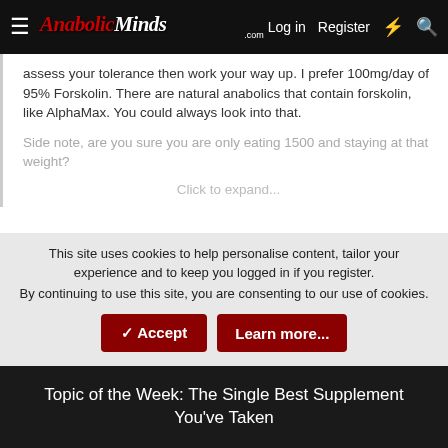AnabolicMinds.com — Log in | Register
assess your tolerance then work your way up. I prefer 100mg/day of 95% Forskolin. There are natural anabolics that contain forskolin, like AlphaMax. You could always look into that.
Side note, are you sure you are only eating 1500 and staying at that weight?
Click to expand...
Just saw this. Yeah twice a week I fast 24 hrs so zero calories. The days I eat it's usually under 1500 but some days I go a little higher to 1700. But I always work out in a fasted state and I do sprints for cardio for HIIT
This site uses cookies to help personalise content, tailor your experience and to keep you logged in if you register.
By continuing to use this site, you are consenting to our use of cookies.
Topic of the Week: The Single Best Supplement You've Taken